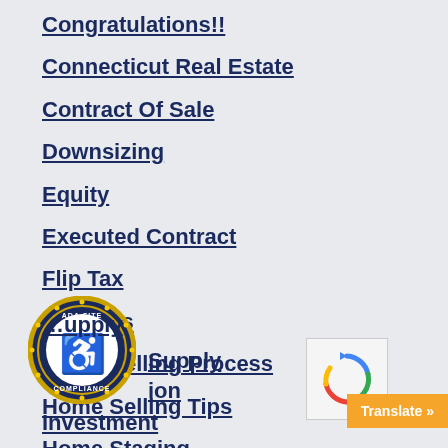Congratulations!!
Connecticut Real Estate
Contract Of Sale
Downsizing
Equity
Executed Contract
Flip Tax
Holidays
Home Selling Process
Home Selling Tips
Home Staging
...Supply
...ion
Investment
[Figure (logo): ADA Site Compliance badge with wheelchair accessibility icon in blue and gold circle]
[Figure (logo): Google reCAPTCHA widget]
Translate »